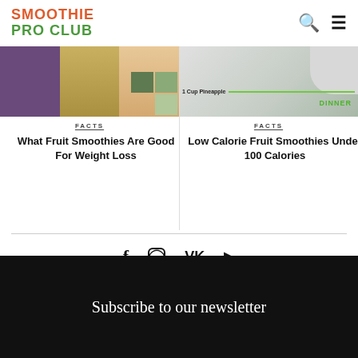SMOOTHIE PRO CLUB
[Figure (photo): Card image showing blueberries, smoothie drink, and sliced fruit side by side with green overlay squares]
FACTS
What Fruit Smoothies Are Good For Weight Loss
[Figure (photo): Card image showing nutrition info graphic with '1 Cup Pineapple' bar and DINNER label in green]
FACTS
Low Calorie Fruit Smoothies Under 100 Calories
[Figure (infographic): Social media icons: Facebook, Instagram, VK, YouTube]
© 2021 SmoothieProClub.com | Contact us: contact@smoothieproclub.com
Subscribe to our newsletter